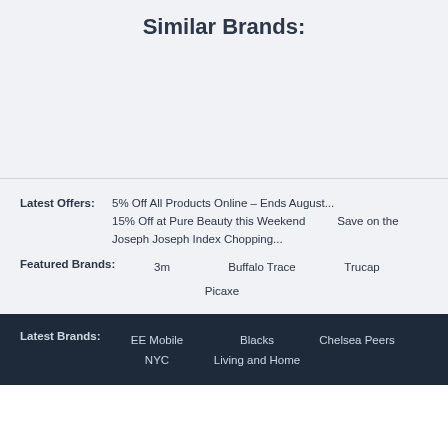Similar Brands:
Latest Offers: 5% Off All Products Online – Ends August... 15% Off at Pure Beauty this Weekend Save on the Joseph Joseph Index Chopping...
Featured Brands: 3m Buffalo Trace Trucap Picaxe
Latest Brands: EE Mobile Blacks Chelsea Peers NYC Living and Home